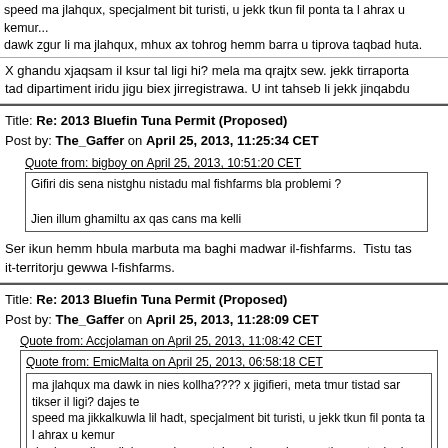speed ma jlahqux, specjalment bit turisti, u jekk tkun fil ponta ta l ahrax u kemur... dawk zgur li ma jlahqux, mhux ax tohrog hemm barra u tiprova taqbad huta.
X ghandu xjaqsam il ksur tal ligi hi? mela ma qrajtx sew. jekk tirraporta tad dipartiment iridu jigu biex jirregistrawa. U int tahseb li jekk jinqabdu
Title: Re: 2013 Bluefin Tuna Permit (Proposed)
Post by: The_Gaffer on April 25, 2013, 11:25:34 CET
Quote from: bigboy on April 25, 2013, 10:51:20 CET
Gifiri dis sena nistghu nistadu mal fishfarms bla problemi ?
Jien illum ghamiltu ax qas cans ma kelli
Ser ikun hemm hbula marbuta ma baghi madwar il-fishfarms.  Tistu tas it-territorju gewwa l-fishfarms.
Title: Re: 2013 Bluefin Tuna Permit (Proposed)
Post by: The_Gaffer on April 25, 2013, 11:28:09 CET
Quote from: Accjolaman on April 25, 2013, 11:08:42 CET
Quote from: EmicMalta on April 25, 2013, 06:58:18 CET
ma jlahqux ma dawk in nies kollha???? x jigifieri, meta tmur tistad sar tikser il ligi? dajes te speed ma jikkalkuwla lil hadt, specjalment bit turisti, u jekk tkun fil ponta ta l ahrax u kemur dawk zgur li ma jlahqux, mhux ax tohrog hemm barra u tiprova taqbad huta.
X ghandu xjaqsam il ksur tal ligi hi? mela ma qrajtx sew. jekk tirraporta li qbadt tonna mhux biex jirregistrawa. U int tahseb li jekk jinqabdu izjed min tnejn se jlahhqu.
It-tnejn zbaljati hbieb.  Mhux huma jigu, pero intom tridu tmorru fid-desi Huma 4 dawn is-sites: Mgarr (Gozo), Marfa, Valletta (hdejn il-pixkerijja) sena ser ikunu 8 minn nies.